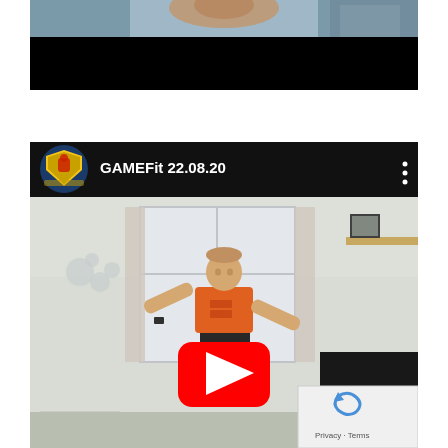[Figure (screenshot): Top portion of a video showing a blurred image with a black bar, cropped at the bottom of frame]
[Figure (screenshot): YouTube embedded video player showing GAMEFit 22.08.20 with Scottish Football logo, showing a man in orange shirt with arms raised in a living room, with a YouTube play button overlay and reCAPTCHA badge]